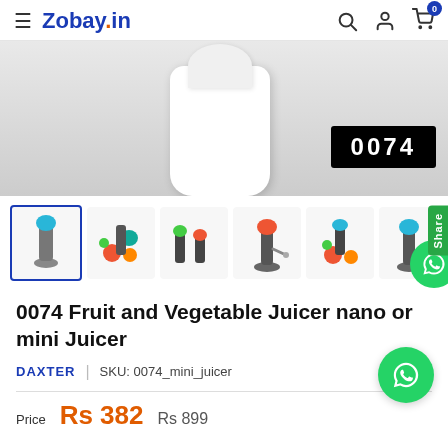Zobay.in
[Figure (photo): Main product image of a white fruit and vegetable juicer with code badge 0074 in bottom right]
[Figure (photo): Thumbnail gallery showing 6 images of the juicer product in various colors and configurations]
0074 Fruit and Vegetable Juicer nano or mini Juicer
DAXTER | SKU: 0074_mini_juicer
Price Rs 382 Rs 899